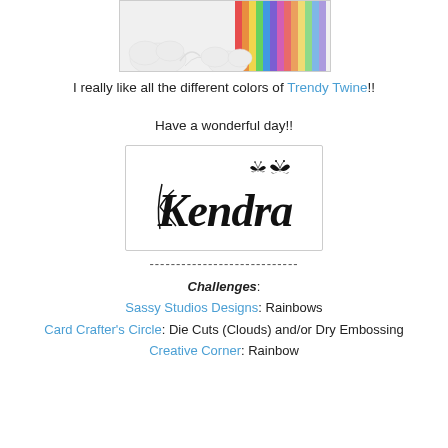[Figure (photo): Partial photo of a rainbow and cloud craft/card with colored pencil or twine rainbow stripes at top of page]
I really like all the different colors of Trendy Twine!!
Have a wonderful day!!
[Figure (illustration): Signature reading 'Kendra' in decorative cursive script with small butterfly silhouettes, inside a light-bordered box]
----------------------------
Challenges: Sassy Studios Designs: Rainbows Card Crafter's Circle: Die Cuts (Clouds) and/or Dry Embossing Creative Corner: Rainbow